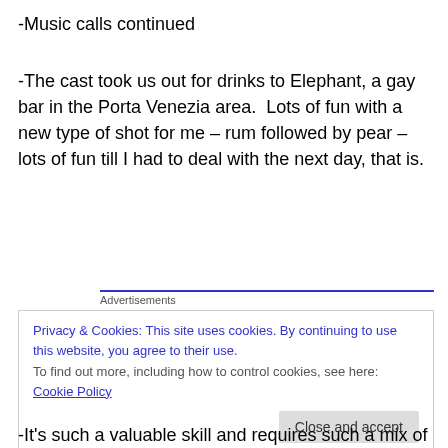-Music calls continued
-The cast took us out for drinks to Elephant, a gay bar in the Porta Venezia area.  Lots of fun with a new type of shot for me – rum followed by pear – lots of fun till I had to deal with the next day, that is.
[Figure (other): WordPress advertisement banner: 'ThePlatform Where WordPress Works Best' with Pressable logo]
-We finished music calls and did another round of
Privacy & Cookies: This site uses cookies. By continuing to use this website, you agree to their use.
To find out more, including how to control cookies, see here: Cookie Policy
It's such a valuable skill and requires such a mix of